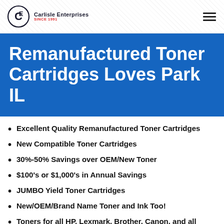Carlisle Enterprises SINCE 1991
Remanufactured Toner Cartridges Loves Park IL
Excellent Quality Remanufactured Toner Cartridges
New Compatible Toner Cartridges
30%-50% Savings over OEM/New Toner
$100's or $1,000's in Annual Savings
JUMBO Yield Toner Cartridges
New/OEM/Brand Name Toner and Ink Too!
Toners for all HP, Lexmark, Brother, Canon, and all other brands